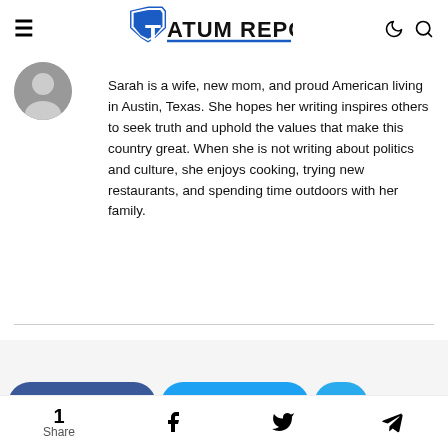Tatum Report
[Figure (photo): Circular author avatar/headshot photo]
Sarah is a wife, new mom, and proud American living in Austin, Texas. She hopes her writing inspires others to seek truth and uphold the values that make this country great. When she is not writing about politics and culture, she enjoys cooking, trying new restaurants, and spending time outdoors with her family.
[Figure (infographic): Share, Tweet, and Telegram social sharing buttons]
1 Share